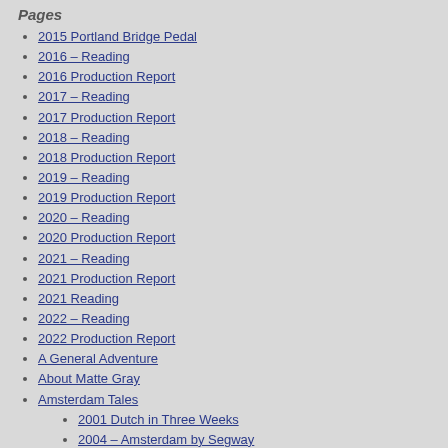Pages
2015 Portland Bridge Pedal
2016 – Reading
2016 Production Report
2017 – Reading
2017 Production Report
2018 – Reading
2018 Production Report
2019 – Reading
2019 Production Report
2020 – Reading
2020 Production Report
2021 – Reading
2021 Production Report
2021 Reading
2022 – Reading
2022 Production Report
A General Adventure
About Matte Gray
Amsterdam Tales
2001 Dutch in Three Weeks
2004 – Amsterdam by Segway
2005 – Amsterdam by Foot